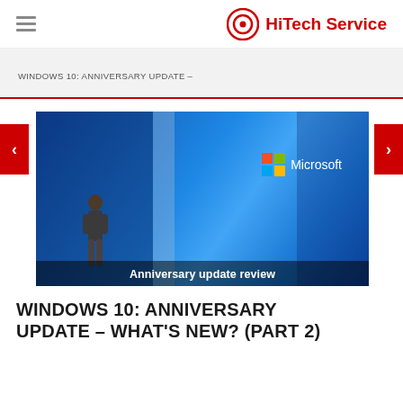HiTech Service
WINDOWS 10: ANNIVERSARY UPDATE –
[Figure (photo): Photo of a presenter on a stage with a large blue Microsoft-branded backdrop and 'Anniversary update review' text overlay.]
WINDOWS 10: ANNIVERSARY UPDATE – WHAT'S NEW? (PART 2)